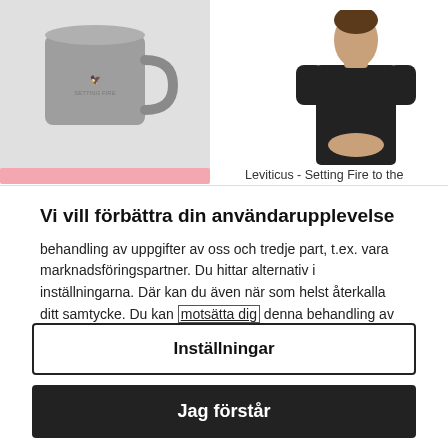[Figure (screenshot): Top half of page showing product images: a grey mug on the left with a pink progress bar below it, and a person in a black t-shirt on the right with text 'Leviticus - Setting Fire to the']
Vi vill förbättra din användarupplevelse
behandling av uppgifter av oss och tredje part, t.ex. vara marknadsföringspartner. Du hittar alternativ i inställningarna. Där kan du även när som helst återkalla ditt samtycke. Du kan motsätta dig denna behandling av uppgifter. Då begränsar vi oss till användningen av de tjänster som är nödvändiga för att driva webbplatsen. Mer information finns i integritetspolicyn. Företagsinformation
Inställningar
Jag förstår